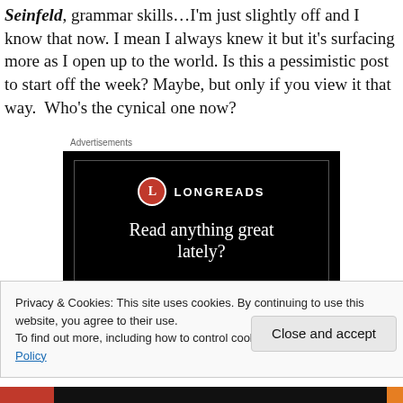Seinfeld, grammar skills…I'm just slightly off and I know that now. I mean I always knew it but it's surfacing more as I open up to the world. Is this a pessimistic post to start off the week? Maybe, but only if you view it that way.  Who's the cynical one now?
Advertisements
[Figure (logo): Longreads advertisement banner on black background. Shows red circle with white L logo and LONGREADS text, with tagline 'Read anything great lately?']
Privacy & Cookies: This site uses cookies. By continuing to use this website, you agree to their use.
To find out more, including how to control cookies, see here: Cookie Policy
Close and accept